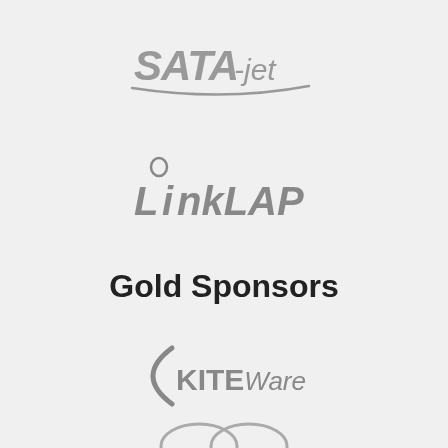[Figure (logo): SATA-jet logo in gray italic text with underline swoosh]
[Figure (logo): LinkLap logo in gray italic bold text with a ring above the 'i']
Gold Sponsors
[Figure (logo): Kiteware logo in gray with a curved bracket/arc on the left side]
[Figure (logo): Partial logo visible at bottom edge]